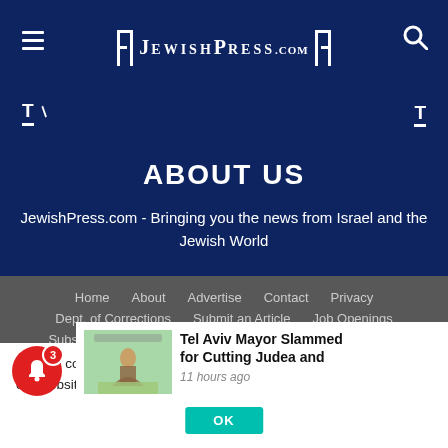JewishPress.com
ABOUT US
JewishPress.com - Bringing you the news from Israel and the Jewish World
Home   About   Advertise   Contact   Privacy
Dept. of Corrections   Submit an Article   Job Openings
Subscribe (Email Newsletter)   Subscriptions (Print Edition)
We use cookies to ensure that we give you the best experience on our website. If yo
Tel Aviv Mayor Slammed for Cutting Judea and
11 hours ago